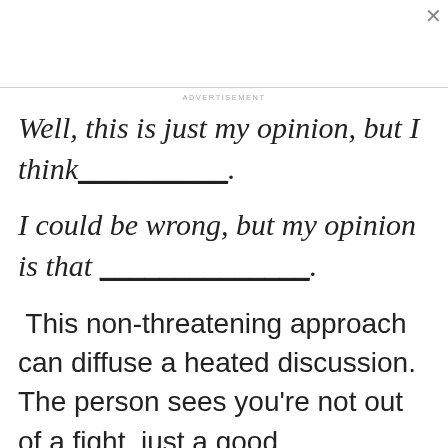ADVERTISEMENT
Well, this is just my opinion, but I think__________.
I could be wrong, but my opinion is that ______________.
This non-threatening approach can diffuse a heated discussion. The person sees you're not out of a fight, just a good conversation about a tricky subject.